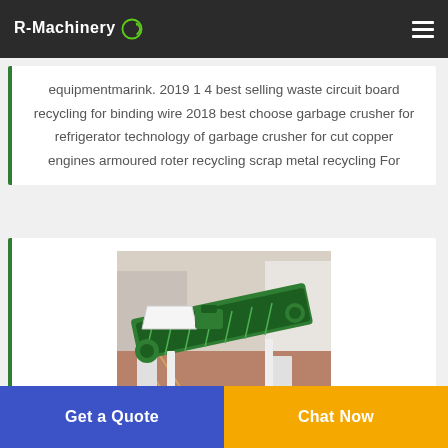R-Machinery
equipmentmarink. 2019 1 4 best selling waste circuit board recycling for binding wire 2018 best choose garbage crusher for refrigerator technology of garbage crusher for cut copper engines armoured roter recycling scrap metal recycling For
[Figure (photo): Industrial conveyor belt machine with green rollers and white metal frame, photographed in a factory/warehouse setting with red floor.]
Get a Quote | Chat Now